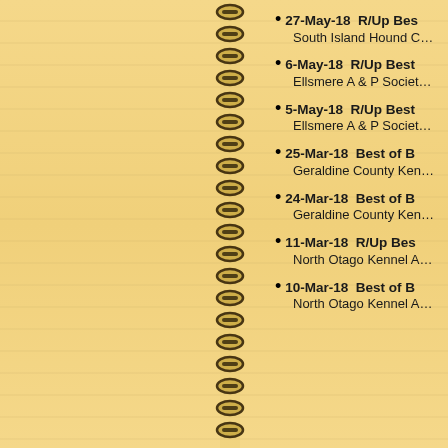27-May-18  R/Up Bes… South Island Hound C…
6-May-18  R/Up Best… Ellsmere A & P Societ…
5-May-18  R/Up Best… Ellsmere A & P Societ…
25-Mar-18  Best of B… Geraldine County Ken…
24-Mar-18  Best of B… Geraldine County Ken…
11-Mar-18  R/Up Bes… North Otago Kennel A…
10-Mar-18  Best of B… North Otago Kennel A…